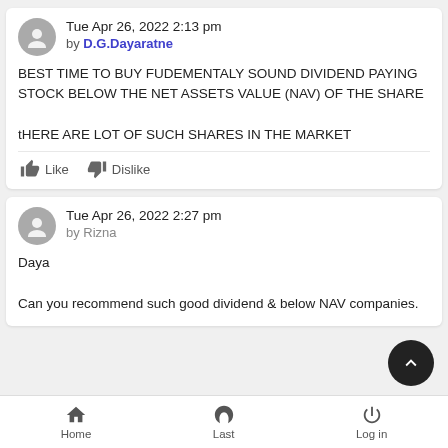Tue Apr 26, 2022 2:13 pm
by D.G.Dayaratne
BEST TIME TO BUY FUDEMENTALY SOUND DIVIDEND PAYING STOCK BELOW THE NET ASSETS VALUE (NAV) OF THE SHARE

tHERE ARE LOT OF SUCH SHARES IN THE MARKET
Like   Dislike
Tue Apr 26, 2022 2:27 pm
by Rizna
Daya

Can you recommend such good dividend & below NAV companies.
Home   Last   Log in